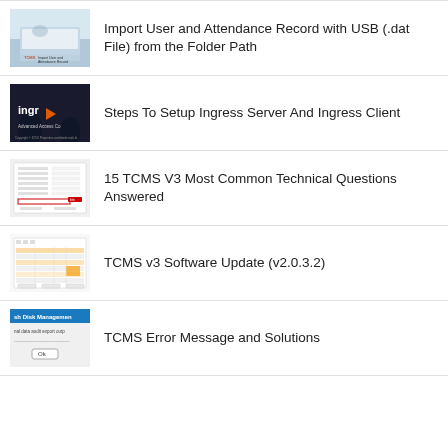Import User and Attendance Record with USB (.dat File) from the Folder Path
Steps To Setup Ingress Server And Ingress Client
15 TCMS V3 Most Common Technical Questions Answered
TCMS v3 Software Update (v2.0.3.2)
TCMS Error Message and Solutions